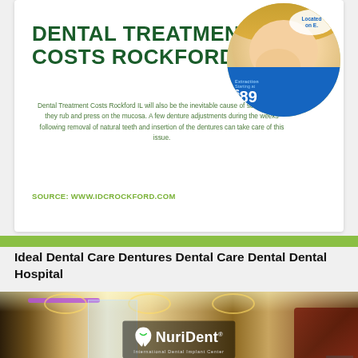DENTAL TREATMENT COSTS ROCKFORD IL
Dental Treatment Costs Rockford IL will also be the inevitable cause of sore spots as they rub and press on the mucosa. A few denture adjustments during the weeks following removal of natural teeth and insertion of the dentures can take care of this issue.
SOURCE: WWW.IDCROCKFORD.COM
[Figure (photo): Circular photo of a smiling woman with a child, with a blue pricing badge showing $89]
Ideal Dental Care Dentures Dental Care Dental Dental Hospital
[Figure (photo): Wide photo of a dental clinic interior with NuriDent International Dental Implant Center logo overlay]